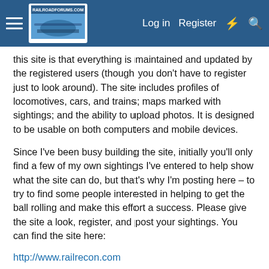RailroadForums.com | Log in | Register
this site is that everything is maintained and updated by the registered users (though you don't have to register just to look around). The site includes profiles of locomotives, cars, and trains; maps marked with sightings; and the ability to upload photos. It is designed to be usable on both computers and mobile devices.
Since I've been busy building the site, initially you'll only find a few of my own sightings I've entered to help show what the site can do, but that's why I'm posting here – to try to find some people interested in helping to get the ball rolling and make this effort a success. Please give the site a look, register, and post your sightings. You can find the site here:
http://www.railrecon.com
You may also want to read the FAQ for more information:
http://www.railrecon.com/about/